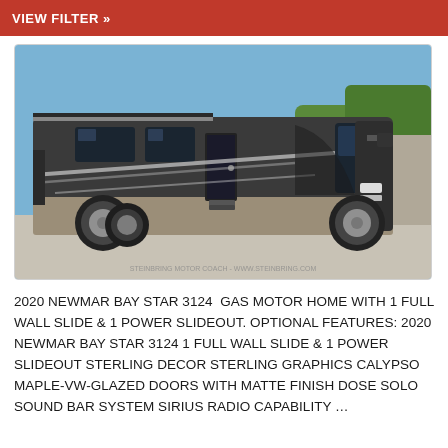VIEW FILTER »
[Figure (photo): 2020 Newmar Bay Star 3124 motorhome (Class A RV) parked in a lot. The coach is dark grey/graphite with silver and white accent stripes. It has a large windshield, entry door, dual rear wheels, and chrome wheel covers. Blue sky with trees visible in background. Watermark text at bottom: STEINBRING MOTOR COACH - WWW.STEINBRING.COM]
2020 NEWMAR BAY STAR 3124  GAS MOTOR HOME WITH 1 FULL WALL SLIDE & 1 POWER SLIDEOUT. OPTIONAL FEATURES: 2020 NEWMAR BAY STAR 3124 1 FULL WALL SLIDE & 1 POWER SLIDEOUT STERLING DECOR STERLING GRAPHICS CALYPSO MAPLE-VW-GLAZED DOORS WITH MATTE FINISH DOSE SOLO SOUND BAR SYSTEM SIRIUS RADIO CAPABILITY …